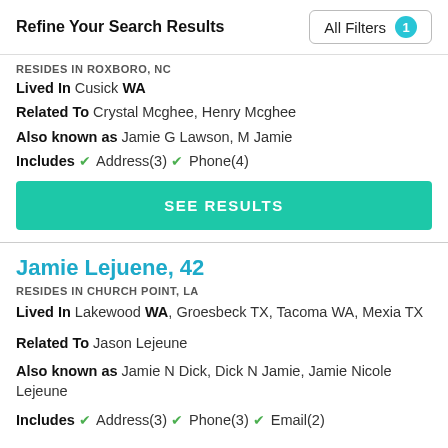Refine Your Search Results
All Filters 1
RESIDES IN ROXBORO, NC
Lived In Cusick WA
Related To Crystal Mcghee, Henry Mcghee
Also known as Jamie G Lawson, M Jamie
Includes ✓ Address(3) ✓ Phone(4)
SEE RESULTS
Jamie Lejuene, 42
RESIDES IN CHURCH POINT, LA
Lived In Lakewood WA, Groesbeck TX, Tacoma WA, Mexia TX
Related To Jason Lejeune
Also known as Jamie N Dick, Dick N Jamie, Jamie Nicole Lejeune
Includes ✓ Address(3) ✓ Phone(3) ✓ Email(2)